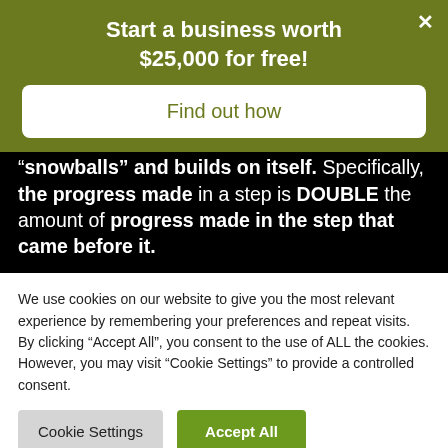Start a business worth $25,000 for free!
Find out how
“snowballs” and builds on itself. Specifically, the progress made in a step is DOUBLE the amount of progress made in the step that came before it.
We use cookies on our website to give you the most relevant experience by remembering your preferences and repeat visits. By clicking “Accept All”, you consent to the use of ALL the cookies. However, you may visit "Cookie Settings" to provide a controlled consent.
Cookie Settings
Accept All